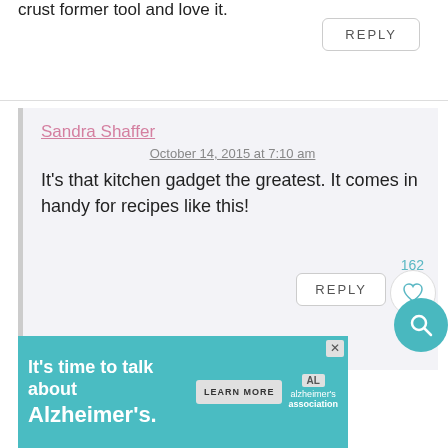crust former tool and love it.
REPLY
Sandra Shaffer
October 14, 2015 at 7:10 am
It’s that kitchen gadget the greatest. It comes in handy for recipes like this!
162
REPLY
[Figure (other): Search icon circle button in teal]
It’s time to talk about Alzheimer’s.
LEARN MORE